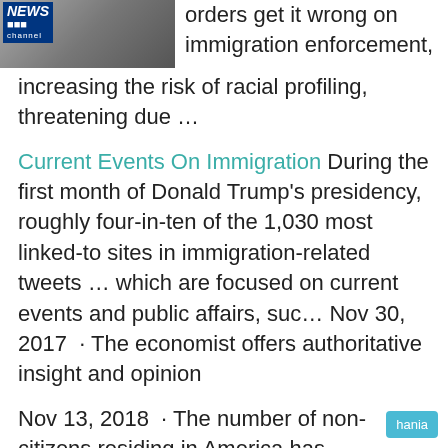[Figure (photo): Fox News channel logo and partially visible person in suit with red tie]
orders get it wrong on immigration enforcement, increasing the risk of racial profiling, threatening due …
Current Events On Immigration During the first month of Donald Trump's presidency, roughly four-in-ten of the 1,030 most linked-to sites in immigration-related tweets … which are focused on current events and public affairs, suc… Nov 30, 2017 · The economist offers authoritative insight and opinion
Nov 13, 2018 · The number of non-citizens residing in America has decreased, while the number of lawful immigrants has increased over the last decade. Lt. Gen. jeffrey buchanan pushes back …
Immigration. See More. Guatemalan Father of murdered north carolina girl denied Visa to Attend Her funeral hania aguilar was abducted and murdered in North Carolina last